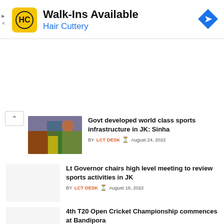[Figure (advertisement): Hair Cuttery ad banner with yellow HC logo, Walk-Ins Available text, blue directional arrow icon, and small ad disclosure labels]
Govt developed world class sports infrastructure in JK: Sinha — BY LCT DESK  August 24, 2022
Lt Governor chairs high level meeting to review sports activities in JK — BY LCT DESK  August 18, 2022
4th T20 Open Cricket Championship commences at Bandipora — BY LCT DESK  August 8, 2022